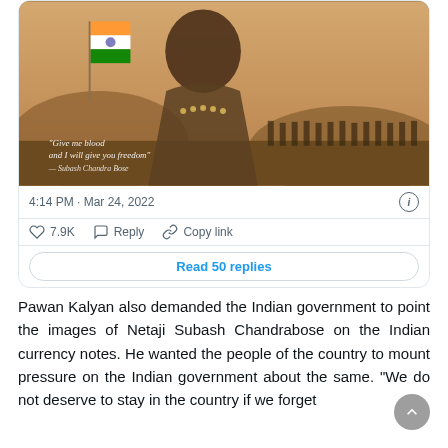[Figure (screenshot): Tweet card screenshot showing a patriotic illustration of Netaji Subash Chandra Bose with Indian flag and soldiers, with quote text, timestamp 4:14 PM Mar 24 2022, 7.9K likes, Reply, Copy link actions, and Read 50 replies button]
Pawan Kalyan also demanded the Indian government to point the images of Netaji Subash Chandrabose on the Indian currency notes. He wanted the people of the country to mount pressure on the Indian government about the same. "We do not deserve to stay in the country if we forget